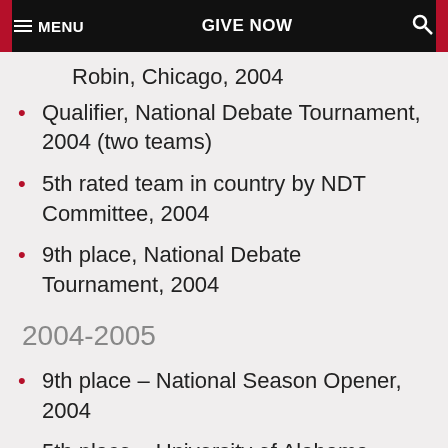MENU   GIVE NOW   🔍
Robin, Chicago, 2004
Qualifier, National Debate Tournament, 2004 (two teams)
5th rated team in country by NDT Committee, 2004
9th place, National Debate Tournament, 2004
2004-2005
9th place – National Season Opener, 2004
5th place – University of Alabama, 2004
17th place – Henry Clay Debates